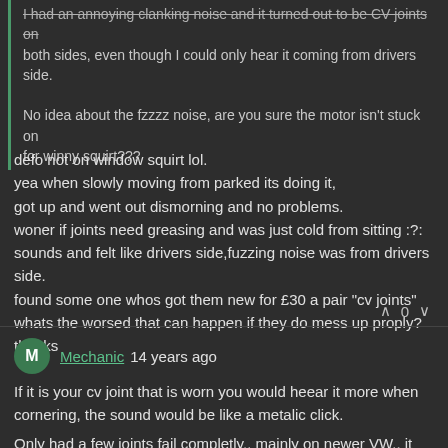I had an annoying clanking noise and it turned out to be CV joints on both sides, even though I could only hear it coming from drivers side.

No idea about the fzzzz noise, are you sure the motor isn't stuck on for winny squirt???
defo not on window squirt lol.
yea when slowly moving from parked its doing it,
got up and went out dismorning and no problems.
woner if joints need greasing and was just cold from sitting :?:
sounds and felt like drivers side,fuzzing noise was from drivers side.
found some one whos got them new for £30 a pair "cv joints"
whats the worsed that can happen if they do mess up proply?
thanks
∧ 0 ∨
Mechanic 14 years ago
If it is your cv joint that is worn you would heear it more when cornering, the sound would be like a metalic click.
Only had a few joints fail completly.. mainly on newer VW.. it can be from just the fact it then cuts the driveshaft out so locking the...